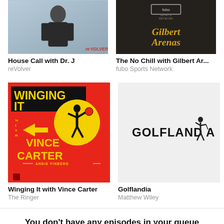[Figure (photo): House Call with Dr. J podcast thumbnail - man in suit, reVolver logo]
House Call with Dr. J
reVolver
[Figure (photo): The No Chill with Gilbert Arenas podcast thumbnail - dark background with fubo Sports Network badge and Gilbert Arenas name in gold]
The No Chill with Gilbert Ar...
fubo Sports Network
[Figure (illustration): Winging It with Vince Carter podcast art - red background, yellow circle with basketball player silhouette, bold yellow and black text]
Winging It with Vince Carter
The Ringer
[Figure (logo): Golflandia logo on light gray background with golfer silhouette replacing letter I]
Golflandia
Matthew Wiley
You don't have any episodes in your queue
Start to listen to an episode